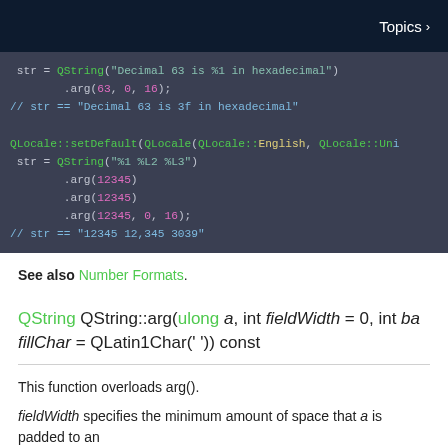Topics >
[Figure (screenshot): Code block showing Qt QString arg() usage with hexadecimal and locale-aware number formatting examples in a dark themed code editor]
See also Number Formats.
QString QString::arg(ulong a, int fieldWidth = 0, int base = 10, QChar fillChar = QLatin1Char(' ')) const
This function overloads arg().
fieldWidth specifies the minimum amount of space that a is padded to an...